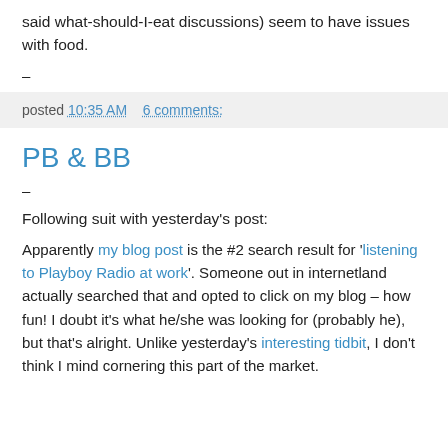said what-should-I-eat discussions) seem to have issues with food.
–
posted 10:35 AM   6 comments:
PB & BB
–
Following suit with yesterday's post:
Apparently my blog post is the #2 search result for 'listening to Playboy Radio at work'. Someone out in internetland actually searched that and opted to click on my blog – how fun! I doubt it's what he/she was looking for (probably he), but that's alright. Unlike yesterday's interesting tidbit, I don't think I mind cornering this part of the market.